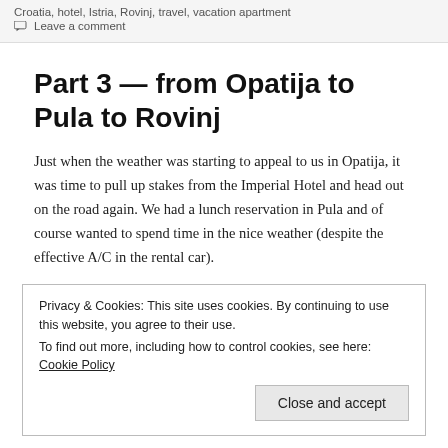Croatia, hotel, Istria, Rovinj, travel, vacation apartment
💬 Leave a comment
Part 3 — from Opatija to Pula to Rovinj
Just when the weather was starting to appeal to us in Opatija, it was time to pull up stakes from the Imperial Hotel and head out on the road again. We had a lunch reservation in Pula and of course wanted to spend time in the nice weather (despite the effective A/C in the rental car).
Privacy & Cookies: This site uses cookies. By continuing to use this website, you agree to their use.
To find out more, including how to control cookies, see here: Cookie Policy
Close and accept